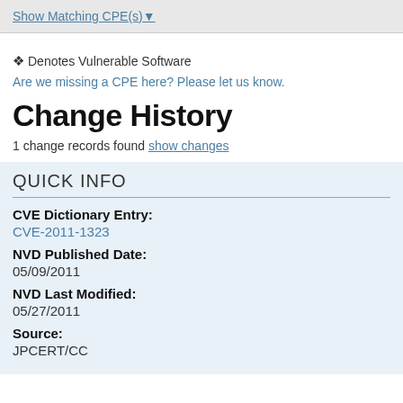Show Matching CPE(s)▾
✦ Denotes Vulnerable Software
Are we missing a CPE here? Please let us know.
Change History
1 change records found show changes
QUICK INFO
CVE Dictionary Entry:
CVE-2011-1323
NVD Published Date:
05/09/2011
NVD Last Modified:
05/27/2011
Source:
JPCERT/CC